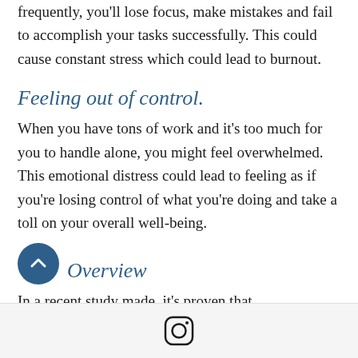frequently, you'll lose focus, make mistakes and fail to accomplish your tasks successfully. This could cause constant stress which could lead to burnout.
Feeling out of control.
When you have tons of work and it's too much for you to handle alone, you might feel overwhelmed. This emotional distress could lead to feeling as if you're losing control of what you're doing and take a toll on your overall well-being.
Overview
In a recent study made, it's proven that
[Figure (logo): Instagram logo icon in a rounded square style]